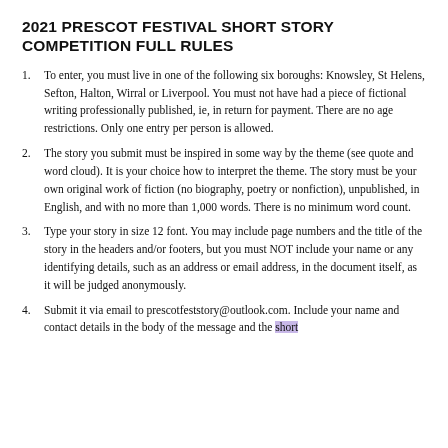2021 PRESCOT FESTIVAL SHORT STORY COMPETITION FULL RULES
To enter, you must live in one of the following six boroughs: Knowsley, St Helens, Sefton, Halton, Wirral or Liverpool. You must not have had a piece of fictional writing professionally published, ie, in return for payment. There are no age restrictions. Only one entry per person is allowed.
The story you submit must be inspired in some way by the theme (see quote and word cloud). It is your choice how to interpret the theme. The story must be your own original work of fiction (no biography, poetry or nonfiction), unpublished, in English, and with no more than 1,000 words. There is no minimum word count.
Type your story in size 12 font. You may include page numbers and the title of the story in the headers and/or footers, but you must NOT include your name or any identifying details, such as an address or email address, in the document itself, as it will be judged anonymously.
Submit it via email to prescotfeststory@outlook.com. Include your name and contact details in the body of the message and the short